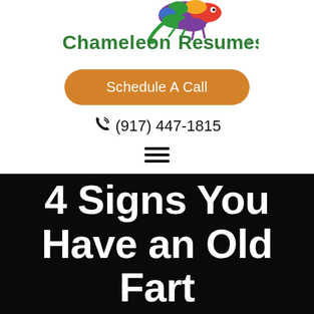[Figure (logo): Chameleon Resumes logo with colorful chameleon illustration above the text 'Chameleon Resumes®' in dark green bold font]
Schedule A Call
(917) 447-1815
[Figure (other): Hamburger menu icon (three horizontal lines)]
4 Signs You Have an Old Fart